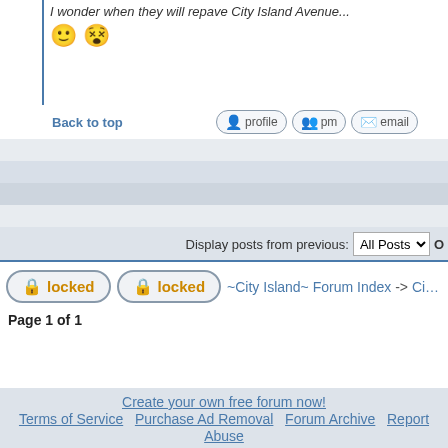I wonder when they will repave City Island Avenue...
😊 😵
Back to top
profile  pm  email
Display posts from previous: All Posts
locked  locked  ~City Island~ Forum Index -> City Island Forum
Page 1 of 1
Create your own free forum now! Terms of Service Purchase Ad Removal Forum Archive Report Abuse